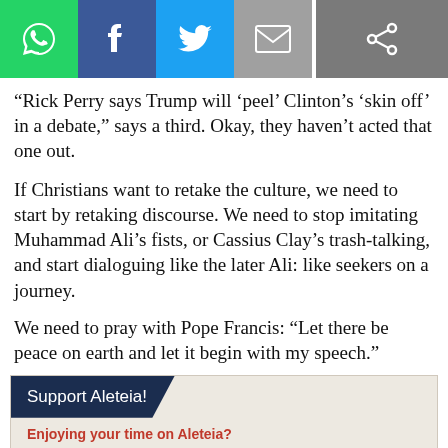[Figure (other): Social sharing bar with WhatsApp, Facebook, Twitter, Email, and general share icons]
“Rick Perry says Trump will ‘peel’ Clinton’s ‘skin off’ in a debate,” says a third. Okay, they haven’t acted that one out.
If Christians want to retake the culture, we need to start by retaking discourse. We need to stop imitating Muhammad Ali’s fists, or Cassius Clay’s trash-talking, and start dialoguing like the later Ali: like seekers on a journey.
We need to pray with Pope Francis: “Let there be peace on earth and let it begin with my speech.”
Support Aleteia!
Enjoying your time on Aleteia?